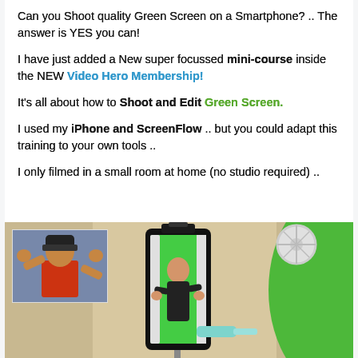Can you Shoot quality Green Screen on a Smartphone? .. The answer is YES you can!
I have just added a New super focussed mini-course inside the NEW Video Hero Membership!
It's all about how to Shoot and Edit Green Screen.
I used my iPhone and ScreenFlow .. but you could adapt this training to your own tools ..
I only filmed in a small room at home (no studio required) ..
[Figure (photo): Photo showing a smartphone mounted on a holder/tripod displaying a man in front of a green screen on its screen. On the left is a small inset video showing a man in a red shirt and baseball cap with hands raised. A green screen panel is visible on the right edge, and a fan is visible in the upper right background. A teal USB cable is connected to the bottom of the phone mount.]